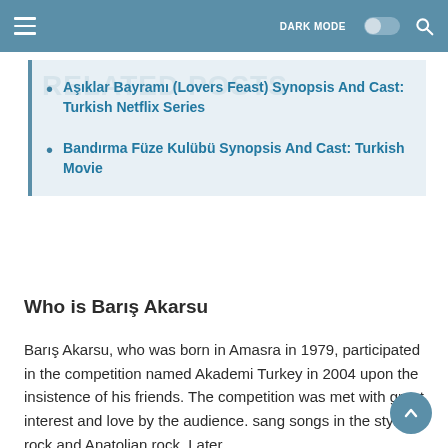DARK MODE [toggle] [search]
Aşıklar Bayramı (Lovers Feast) Synopsis And Cast: Turkish Netflix Series
Bandırma Füze Kulübü Synopsis And Cast: Turkish Movie
Who is Barış Akarsu
Barış Akarsu, who was born in Amasra in 1979, participated in the competition named Akademi Turkey in 2004 upon the insistence of his friends. The competition was met with great interest and love by the audience. sang songs in the style of rock and Anatolian rock. Later,